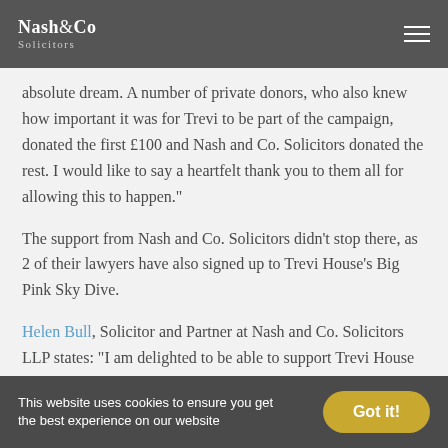Nash & Co Solicitors
absolute dream. A number of private donors, who also knew how important it was for Trevi to be part of the campaign, donated the first £100 and Nash and Co. Solicitors donated the rest. I would like to say a heartfelt thank you to them all for allowing this to happen.”
The support from Nash and Co. Solicitors didn’t stop there, as 2 of their lawyers have also signed up to Trevi House’s Big Pink Sky Dive.
Helen Bull, Solicitor and Partner at Nash and Co. Solicitors LLP states: “I am delighted to be able to support Trevi House in both being part of the Lady Astor 100 star…
This website uses cookies to ensure you get the best experience on our website   Got it!